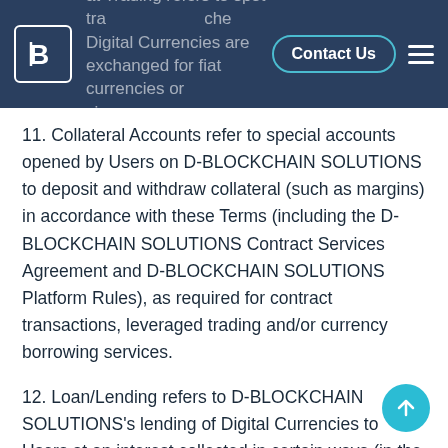at Trading refers to spot transactions where Digital Currencies are exchanged for fiat currencies or vice versa. | Contact Us | [logo] [menu]
11. Collateral Accounts refer to special accounts opened by Users on D-BLOCKCHAIN SOLUTIONS to deposit and withdraw collateral (such as margins) in accordance with these Terms (including the D-BLOCKCHAIN SOLUTIONS Contract Services Agreement and D-BLOCKCHAIN SOLUTIONS Platform Rules), as required for contract transactions, leveraged trading and/or currency borrowing services.
12. Loan/Lending refers to D-BLOCKCHAIN SOLUTIONS's lending of Digital Currencies to Users at an interest collected in certain ways (in the form of Digital Currencies), including but not limited to the leveraged trading and currency lending services currently offered, and other forms of loan/lending